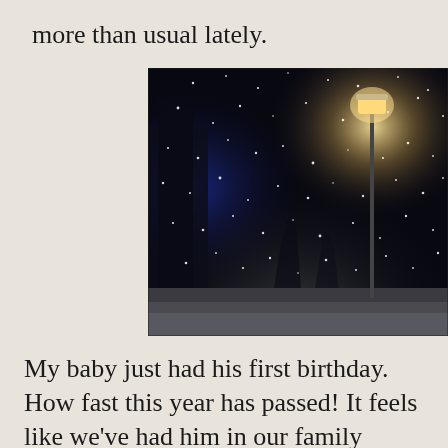more than usual lately.
[Figure (photo): Nighttime snowy scene with snowflakes visible mid-air, a glowing street lamp in the upper right area, dark sky and trees in the background, snow accumulating on the ground.]
My baby just had his first birthday. How fast this year has passed! It feels like we've had him in our family forever. His first teeth finally poked through (so far I've not been